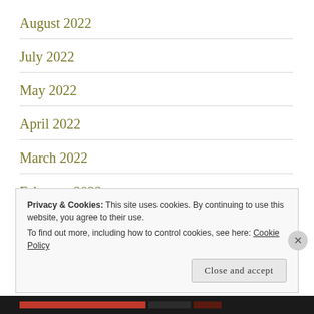August 2022
July 2022
May 2022
April 2022
March 2022
February 2022
Privacy & Cookies: This site uses cookies. By continuing to use this website, you agree to their use.
To find out more, including how to control cookies, see here: Cookie Policy
Close and accept